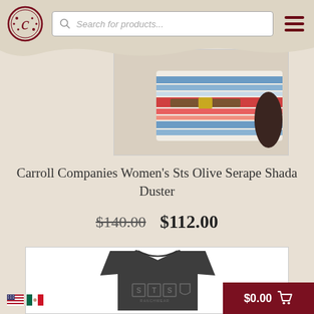[Figure (screenshot): Website header with Carroll Companies logo (C in decorative circle), search bar with placeholder 'Search for products...', and hamburger menu icon]
[Figure (photo): Partial product photo showing a colorful striped serape pattern garment - STS Olive Serape Shada Duster]
Carroll Companies Women's Sts Olive Serape Shada Duster
$140.00  $112.00
[Figure (photo): Dark charcoal grey t-shirt with STS Ranchwear logo on the chest]
$0.00
[Figure (illustration): US and Mexican flag icons in bottom left corner]